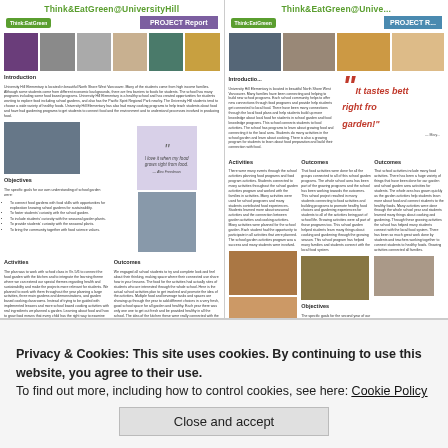Think&EatGreen@UniversityHill — PROJECT Report (left panel)
Think&EatGreen@Unive... — PROJECT R... (right panel, partially visible)
[Figure (photo): Document page showing Think&EatGreen@UniversityHill PROJECT Report with photos of students cooking and gardening, introduction text, activities, objectives, outcomes, and reflections sections]
[Figure (photo): Second document page (partially visible) showing same report format with a large pull-quote 'It tastes better right from the garden!' and additional photos and text sections]
Privacy & Cookies: This site uses cookies. By continuing to use this website, you agree to their use.
To find out more, including how to control cookies, see here: Cookie Policy
Close and accept